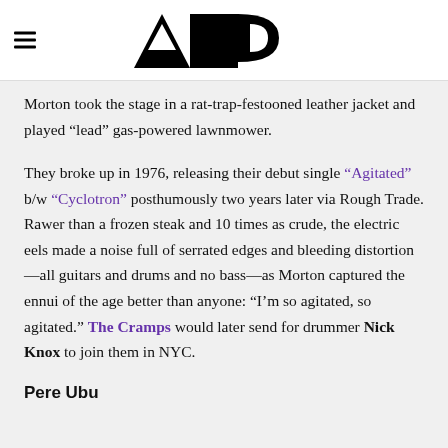Alternative Press
Morton took the stage in a rat-trap-festooned leather jacket and played “lead” gas-powered lawnmower.
They broke up in 1976, releasing their debut single “Agitated” b/w “Cyclotron” posthumously two years later via Rough Trade. Rawer than a frozen steak and 10 times as crude, the electric eels made a noise full of serrated edges and bleeding distortion—all guitars and drums and no bass—as Morton captured the ennui of the age better than anyone: “I’m so agitated, so agitated.” The Cramps would later send for drummer Nick Knox to join them in NYC.
Pere Ubu